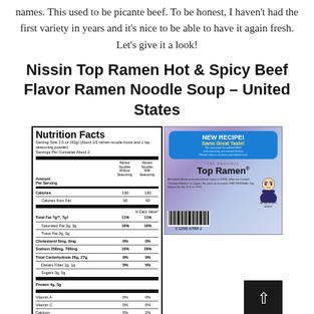names. This used to be picante beef. To be honest, I haven't had the first variety in years and it's nice to be able to have it again fresh. Let's give it a look!
Nissin Top Ramen Hot & Spicy Beef Flavor Ramen Noodle Soup – United States
[Figure (photo): Nutrition facts panel and back of Nissin Top Ramen Hot & Spicy Beef Flavor package showing New Recipe badge, Top Ramen logo, Momofuku Ando story, and barcode, alongside a scroll-to-top button.]